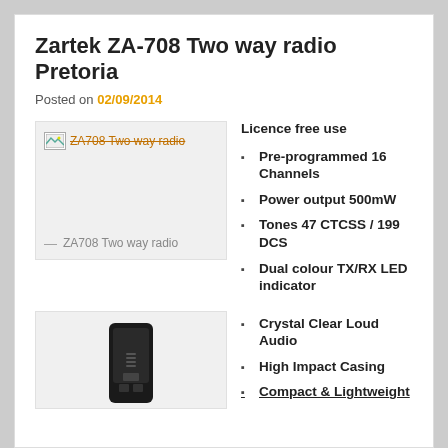Zartek ZA-708 Two way radio Pretoria
Posted on 02/09/2014
[Figure (photo): ZA708 Two way radio image placeholder with broken image icon and strikethrough text caption]
ZA708 Two way radio
Licence free use
Pre-programmed 16 Channels
Power output 500mW
Tones 47 CTCSS / 199 DCS
Dual colour TX/RX LED indicator
[Figure (photo): Photo of a black Zartek ZA-708 two way radio device]
Crystal Clear Loud Audio
High Impact Casing
Compact & Lightweight